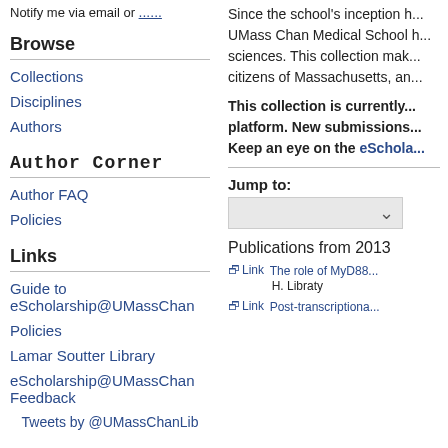Notify me via email or ...
Browse
Collections
Disciplines
Authors
Author Corner
Author FAQ
Policies
Links
Guide to eScholarship@UMassChan
Policies
Lamar Soutter Library
eScholarship@UMassChan Feedback
Tweets by @UMassChanLib
Since the school's inception... UMass Chan Medical School h... sciences. This collection mak... citizens of Massachusetts, an...
This collection is currently... platform. New submissions... Keep an eye on the eSchola...
Jump to:
Publications from 2013
Link  The role of MyD88...
H. Libraty
Link  Post-transcriptiona...